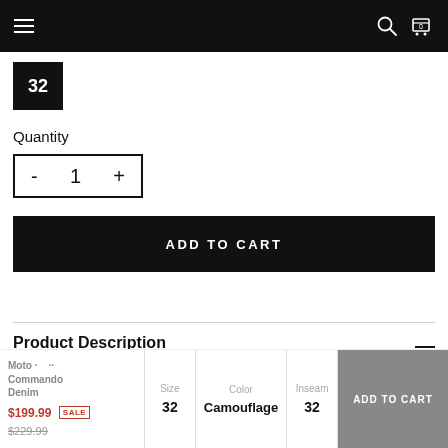Navigation bar with hamburger menu, search and cart icons
32
Quantity
- 1 +
ADD TO CART
Product Description
Moto Commando Denim $199.99 $229.99 SALE — Size 32 — Color Camouflage — Inseam 32 — ADD TO CART